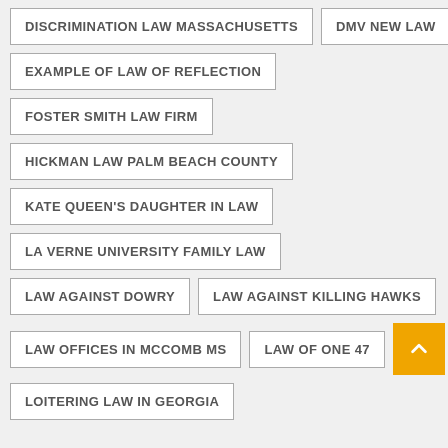DISCRIMINATION LAW MASSACHUSETTS
DMV NEW LAW
EXAMPLE OF LAW OF REFLECTION
FOSTER SMITH LAW FIRM
HICKMAN LAW PALM BEACH COUNTY
KATE QUEEN'S DAUGHTER IN LAW
LA VERNE UNIVERSITY FAMILY LAW
LAW AGAINST DOWRY
LAW AGAINST KILLING HAWKS
LAW OFFICES IN MCCOMB MS
LAW OF ONE 47
LOITERING LAW IN GEORGIA